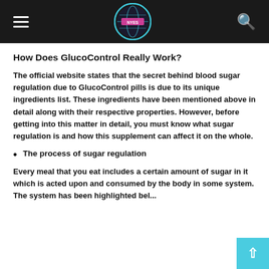Navigation header with hamburger menu, logo, and search icon
How Does GlucoControl Really Work?
The official website states that the secret behind blood sugar regulation due to GlucoControl pills is due to its unique ingredients list. These ingredients have been mentioned above in detail along with their respective properties. However, before getting into this matter in detail, you must know what sugar regulation is and how this supplement can affect it on the whole.
The process of sugar regulation
Every meal that you eat includes a certain amount of sugar in it which is acted upon and consumed by the body in some system. The system has been highlighted below...